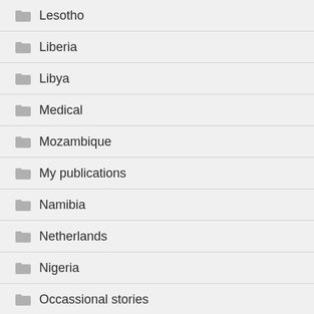Lesotho
Liberia
Libya
Medical
Mozambique
My publications
Namibia
Netherlands
Nigeria
Occassional stories